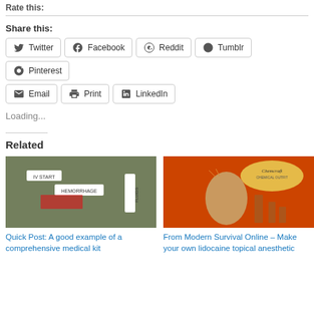Rate this:
Share this:
Twitter
Facebook
Reddit
Tumblr
Pinterest
Email
Print
LinkedIn
Loading...
Related
[Figure (photo): Medical kit with labels IV START, HEMORRHAGE, and FLUIDS on camouflage background]
Quick Post: A good example of a comprehensive medical kit
[Figure (photo): Chemcraft Chemical Outfit box cover showing a boy with hand on forehead, red background with chemistry equipment illustrations]
From Modern Survival Online – Make your own lidocaine topical anesthetic